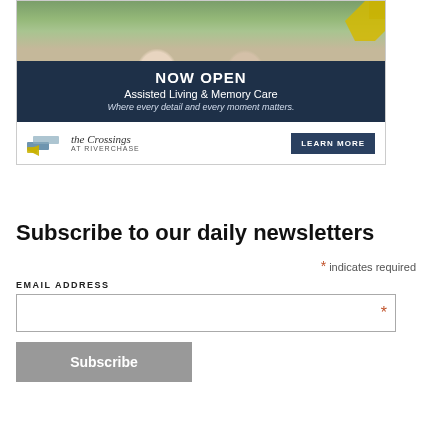[Figure (infographic): Advertisement for The Crossings at Riverchase assisted living facility. Top portion shows two elderly women smiling outdoors. Dark navy band reads NOW OPEN / Assisted Living & Memory Care / Where every detail and every moment matters. Bottom white band shows The Crossings at Riverchase logo with colorful brush strokes and a LEARN MORE button.]
Subscribe to our daily newsletters
* indicates required
EMAIL ADDRESS
Subscribe